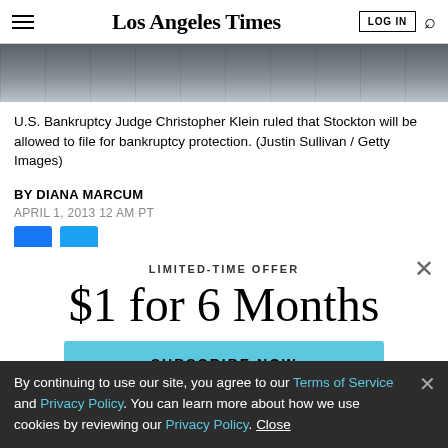Los Angeles Times
[Figure (photo): Partial photo of a building, used as article header image]
U.S. Bankruptcy Judge Christopher Klein ruled that Stockton will be allowed to file for bankruptcy protection. (Justin Sullivan / Getty Images)
BY DIANA MARCUM
APRIL 1, 2013 12 AM PT
LIMITED-TIME OFFER
$1 for 6 Months
SUBSCRIBE NOW
By continuing to use our site, you agree to our Terms of Service and Privacy Policy. You can learn more about how we use cookies by reviewing our Privacy Policy. Close